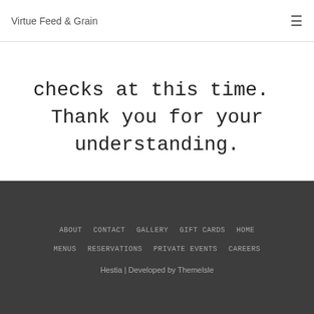Virtue Feed & Grain
checks at this time.  Thank you for your understanding.
ABOUT  CONTACT  GALLERY  GIFT CARDS  HOME  MENUS  RESERVATIONS  PRIVATE EVENTS  CAREERS  Hestia | Developed by ThemeIsle